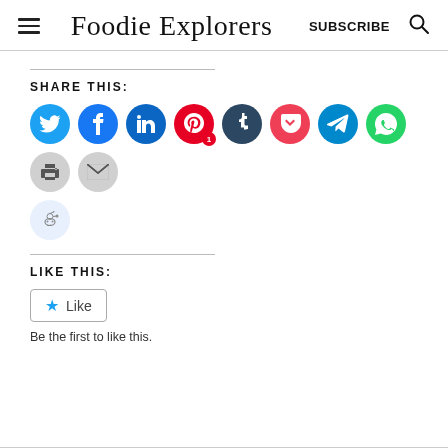Foodie Explorers — SUBSCRIBE
SHARE THIS:
[Figure (infographic): Row of social share icon buttons: Twitter (blue), Facebook (blue), LinkedIn (dark blue), Pinterest (red, with badge '1'), Tumblr (dark navy), Pocket (red), Telegram (blue), WhatsApp (green), Print (grey), Email (grey), Reddit (light blue)]
LIKE THIS:
[Figure (other): Like button widget with star icon and 'Like' text]
Be the first to like this.